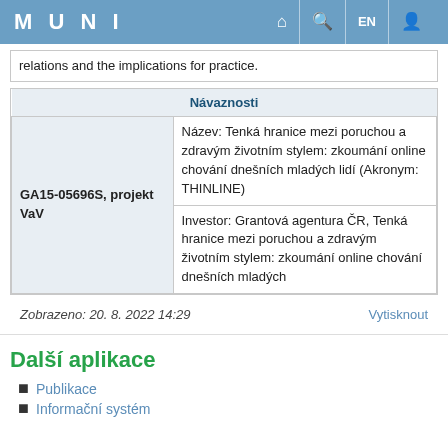MUNI  EN
relations and the implications for practice.
| Návaznosti |
| --- |
| GA15-05696S, projekt VaV | Název: Tenká hranice mezi poruchou a zdravým životním stylem: zkoumání online chování dnešních mladých lidí (Akronym: THINLINE) |
| GA15-05696S, projekt VaV | Investor: Grantová agentura ČR, Tenká hranice mezi poruchou a zdravým životním stylem: zkoumání online chování dnešních mladých |
Zobrazeno: 20. 8. 2022 14:29   Vytisknout
Další aplikace
Publikace
Informační systém